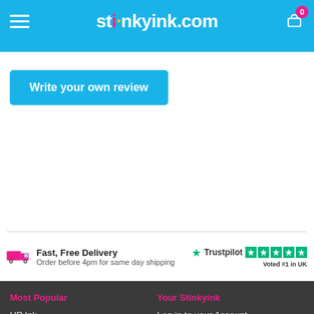Stinkyink.com
Write your own review
[Figure (infographic): Delivery truck icon with Fast, Free Delivery text and Trustpilot 5-star rating, Voted #1 in UK]
Most Popular | Your Stinkyink | HP Ink | Log in to your Account | Canon Ink | Contact Us